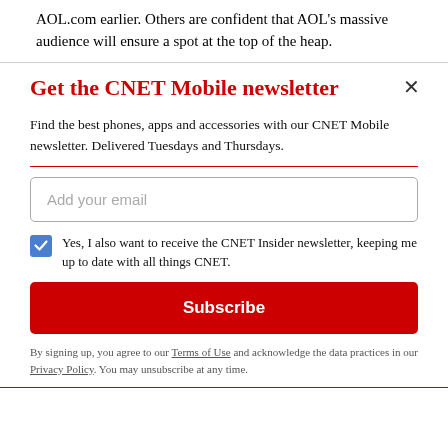AOL.com earlier. Others are confident that AOL's massive audience will ensure a spot at the top of the heap.
Get the CNET Mobile newsletter
Find the best phones, apps and accessories with our CNET Mobile newsletter. Delivered Tuesdays and Thursdays.
Add your email
Yes, I also want to receive the CNET Insider newsletter, keeping me up to date with all things CNET.
Subscribe
By signing up, you agree to our Terms of Use and acknowledge the data practices in our Privacy Policy. You may unsubscribe at any time.